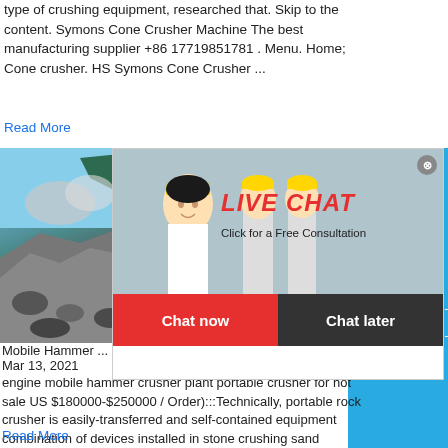type of crushing equipment, researched that. Skip to the content. Symons Cone Crusher Machine The best manufacturing supplier +86 17719851781 . Menu. Home; Cone crusher. HS Symons Cone Crusher ...
Read More
[Figure (photo): Photo of a mobile crusher/construction machine with rock/gravel pile and excavator in background]
Mobile Hammer ...
Mar 13, 2021
engine mobile hammer crusher plant portable crusher for hot sale US $180000-$250000 / Order):::Technically, portable rock crusher is easily-transferred and self-contained equipment combination of devices installed in stone crushing sand making plants []
Read More
[Figure (screenshot): Live chat popup overlay with workers in yellow hard hats. Contains LIVE CHAT heading, 'Click for a Free Consultation' subtext, Chat now (red) and Chat later (black) buttons. Close button (X) in top right corner.]
[Figure (screenshot): Right sidebar showing blue background with 'hour online', crusher machine image, 'Click me to chat>>' button, 'Enquiry' text, and 'limingjlmofen' text]